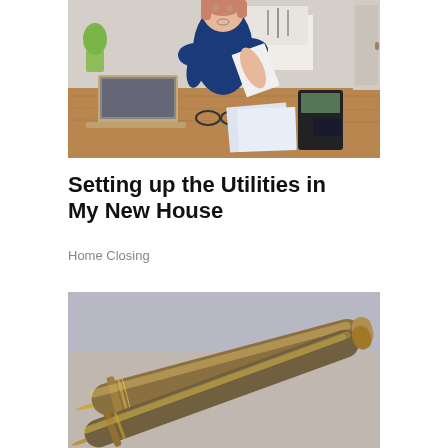[Figure (photo): Woman in blue top sitting at a kitchen table, reviewing documents with a laptop, calculator, glasses, and papers on the table in front of her.]
Setting up the Utilities in My New House
Home Closing
[Figure (photo): Close-up of two gold/metallic pens resting on a light-colored surface, viewed from above at an angle.]